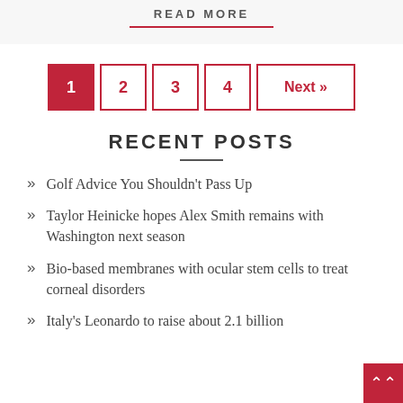READ MORE
1
2
3
4
Next »
RECENT POSTS
Golf Advice You Shouldn't Pass Up
Taylor Heinicke hopes Alex Smith remains with Washington next season
Bio-based membranes with ocular stem cells to treat corneal disorders
Italy's Leonardo to raise about 2.1 billion